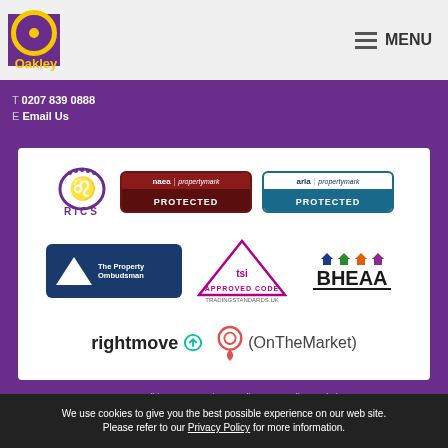Oakley - MENU
T 0207 839 0888
E Email Us
[Figure (logo): Panel containing partner logos: RICS, naea propertymark PROTECTED, arla propertymark PROTECTED, The Property Ombudsman, TSI Approved Code tradingstandards.uk, BHEAA, rightmove, OnTheMarket]
Terms & Conditions   Privacy Policy   Client Relations
We use cookies to give you the best possible experience on our web site. Please refer to our Privacy Policy for more information.